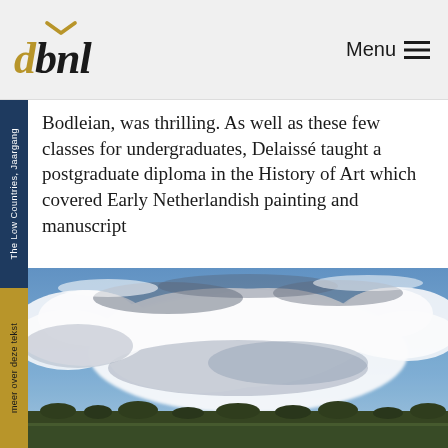dbnl Menu
Bodleian, was thrilling. As well as these few classes for undergraduates, Delaissé taught a postgraduate diploma in the History of Art which covered Early Netherlandish painting and manuscript
[Figure (photo): Landscape painting showing a wide sky with large white and grey clouds, and flat terrain with trees and fields below, in the style of Early Netherlandish or Dutch landscape painting.]
The Low Countries, Jaargang
meer over deze tekst